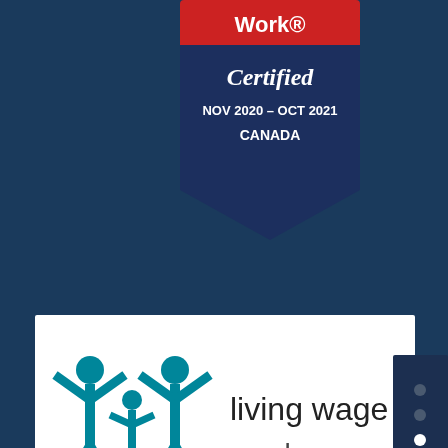[Figure (logo): Great Place to Work Certified badge, NOV 2020 – OCT 2021, CANADA. Navy blue shield shape with red top banner showing 'Work®', white text 'Certified', 'NOV 2020 – OCT 2021', 'CANADA']
[Figure (logo): Living Wage Employer logo on white background. Teal figures of a family (two adults and a child holding hands with arms raised) on the left, and dark text 'living wage employer' on the right.]
[Figure (logo): CARF Canada Accredited seal. Circular badge with stars around the border, 'ASPIRE to Excellence' text around the top, red maple leaf in center, 'carf' in large text, 'CANADA ACCREDITED' below.]
[Figure (other): Dark navy navigation sidebar on the right edge with three dot indicators (two dark, one white/active) and a scroll-to-top arrow button below.]